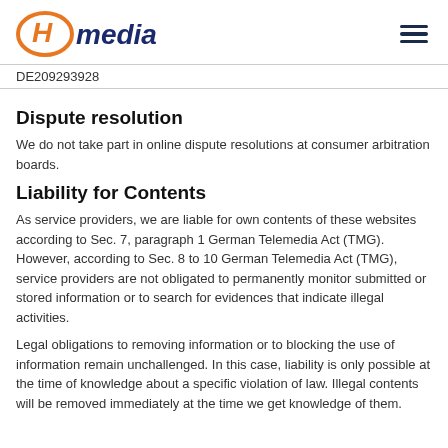[Figure (logo): H Media logo with orange H in oval and dark blue 'media' text]
DE209293928
Dispute resolution
We do not take part in online dispute resolutions at consumer arbitration boards.
Liability for Contents
As service providers, we are liable for own contents of these websites according to Sec. 7, paragraph 1 German Telemedia Act (TMG). However, according to Sec. 8 to 10 German Telemedia Act (TMG), service providers are not obligated to permanently monitor submitted or stored information or to search for evidences that indicate illegal activities.
Legal obligations to removing information or to blocking the use of information remain unchallenged. In this case, liability is only possible at the time of knowledge about a specific violation of law. Illegal contents will be removed immediately at the time we get knowledge of them.